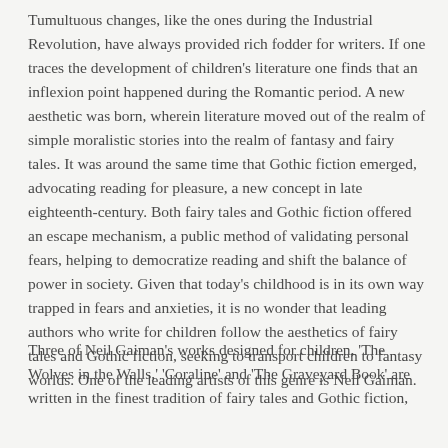Tumultuous changes, like the ones during the Industrial Revolution, have always provided rich fodder for writers. If one traces the development of children's literature one finds that an inflexion point happened during the Romantic period. A new aesthetic was born, wherein literature moved out of the realm of simple moralistic stories into the realm of fantasy and fairy tales. It was around the same time that Gothic fiction emerged, advocating reading for pleasure, a new concept in late eighteenth-century. Both fairy tales and Gothic fiction offered an escape mechanism, a public method of validating personal fears, helping to democratize reading and shift the balance of power in society. Given that today's childhood is in its own way trapped in fears and anxieties, it is no wonder that leading authors who write for children follow the aesthetics of fairy tales and Gothic fiction, seeking to transport children to fantasy worlds. One of the leading artists of this genre is Neil Gaiman.
Three of Neil Gaiman's works designed for children, 'The Wolves in the Walls,' 'Coraline' and 'The Graveyard Book' are written in the finest tradition of fairy tales and Gothic fiction,